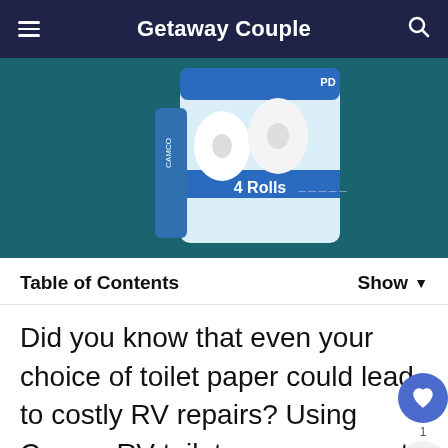Getaway Couple
[Figure (photo): Product photo of Camco RV toilet paper package showing '4 Rolls' on a teal/dark background]
Table of Contents   Show ▾
Did you know that even your choice of toilet paper could lead to costly RV repairs? Using Camco RV toilet paper may not be cheap, but it'll save you down the road. Let's take